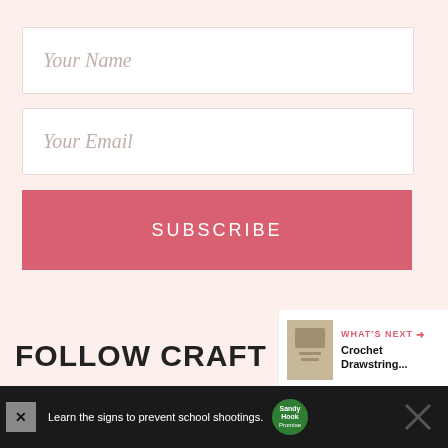Your Name
Your Email
SUBSCRIBE
[Figure (infographic): Scroll-to-top up arrow button above a pink heart button circle, and a share button circle below]
FOLLOW CRAFT PASSIO...
[Figure (infographic): WHAT'S NEXT card showing Crochet Drawstring... with a product image]
[Figure (infographic): Advertisement bar: Learn the signs to prevent school shootings. Sandy Hook Promise logo, X close button]